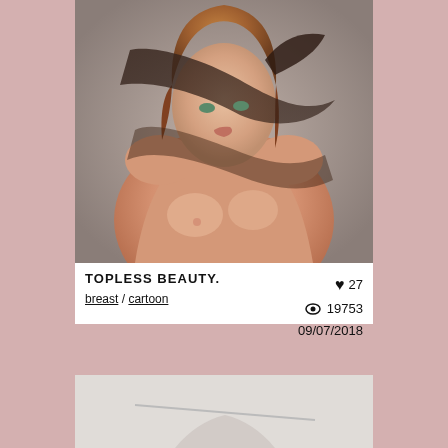[Figure (illustration): Digital illustration of a topless female figure with auburn hair, arms raised, soft lighting with shadows across the face and torso, light beige/peach background. Cartoon/digital art style.]
TOPLESS BEAUTY.
breast / cartoon
♥ 27
👁 19753
09/07/2018
[Figure (illustration): Partial view of a second digital illustration at the bottom of the page, showing a white/grey background with partial figure visible.]